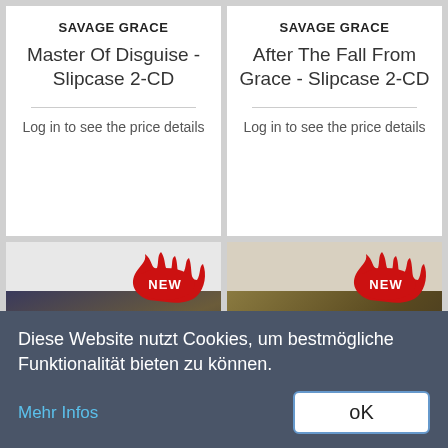SAVAGE GRACE
Master Of Disguise - Slipcase 2-CD
Log in to see the price details
SAVAGE GRACE
After The Fall From Grace - Slipcase 2-CD
Log in to see the price details
[Figure (photo): NEW badge with flame graphic over Cryptoray album art (black vinyl record and illustrated cover)]
[Figure (photo): NEW badge with flame graphic over Trouble 'One For The Road' album art (CD cases)]
Diese Website nutzt Cookies, um bestmögliche Funktionalität bieten zu können.
Mehr Infos
oK